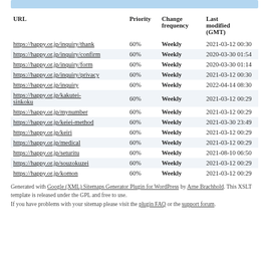| URL | Priority | Change frequency | Last modified (GMT) |
| --- | --- | --- | --- |
| https://happy.or.jp/inquiry/thank | 60% | Weekly | 2021-03-12 00:30 |
| https://happy.or.jp/inquiry/confirm | 60% | Weekly | 2020-03-30 01:54 |
| https://happy.or.jp/inquiry/form | 60% | Weekly | 2020-03-30 01:14 |
| https://happy.or.jp/inquiry/privacy | 60% | Weekly | 2021-03-12 00:30 |
| https://happy.or.jp/inquiry | 60% | Weekly | 2022-04-14 08:30 |
| https://happy.or.jp/kakutei-sinkoku | 60% | Weekly | 2021-03-12 00:29 |
| https://happy.or.jp/mynumber | 60% | Weekly | 2021-03-12 00:29 |
| https://happy.or.jp/keiei-method | 60% | Weekly | 2021-03-30 23:49 |
| https://happy.or.jp/keiri | 60% | Weekly | 2021-03-12 00:29 |
| https://happy.or.jp/medical | 60% | Weekly | 2021-03-12 00:29 |
| https://happy.or.jp/seturitu | 60% | Weekly | 2021-08-10 06:50 |
| https://happy.or.jp/souzokuzei | 60% | Weekly | 2021-03-12 00:29 |
| https://happy.or.jp/komon | 60% | Weekly | 2021-03-12 00:29 |
Generated with Google (XML) Sitemaps Generator Plugin for WordPress by Arne Brachhold. This XSLT template is released under the GPL and free to use.
If you have problems with your sitemap please visit the plugin FAQ or the support forum.